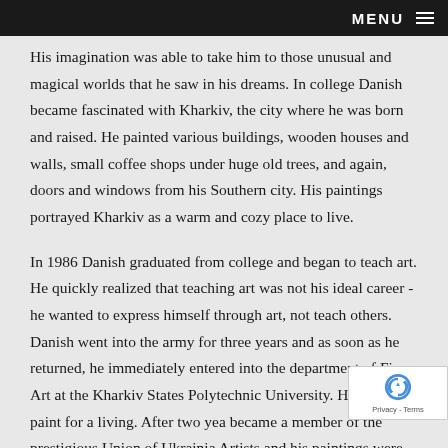MENU
His imagination was able to take him to those unusual and magical worlds that he saw in his dreams. In college Danish became fascinated with Kharkiv, the city where he was born and raised. He painted various buildings, wooden houses and walls, small coffee shops under huge old trees, and again, doors and windows from his Southern city. His paintings portrayed Kharkiv as a warm and cozy place to live.
In 1986 Danish graduated from college and began to teach art. He quickly realized that teaching art was not his ideal career - he wanted to express himself through art, not teach others. Danish went into the army for three years and as soon as he returned, he immediately entered into the department of Fine Art at the Kharkiv States Polytechnic University. He began to paint for a living. After two yea became a member of the prestigious Union of Ukrainia Artists and his paintings were in high demand. His career as